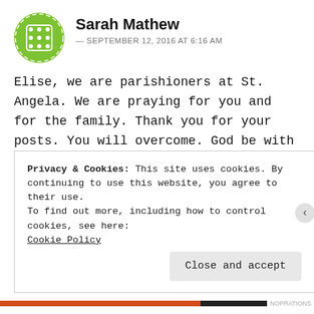[Figure (logo): Green circular decorative avatar icon with geometric pattern]
Sarah Mathew
— SEPTEMBER 12, 2016 AT 6:16 AM
Elise, we are parishioners at St. Angela. We are praying for you and for the family. Thank you for your posts. You will overcome. God be with you always.
★ Like
Reply
Privacy & Cookies: This site uses cookies. By continuing to use this website, you agree to their use.
To find out more, including how to control cookies, see here: Cookie Policy
Close and accept